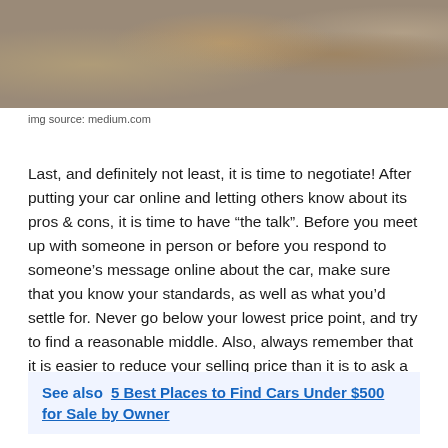[Figure (photo): Person at a desk with a laptop, coffee cups, and plant, seen from above/side angle.]
img source: medium.com
Last, and definitely not least, it is time to negotiate! After putting your car online and letting others know about its pros & cons, it is time to have “the talk”. Before you meet up with someone in person or before you respond to someone’s message online about the car, make sure that you know your standards, as well as what you’d settle for. Never go below your lowest price point, and try to find a reasonable middle. Also, always remember that it is easier to reduce your selling price than it is to ask a buyer for more money. Think wisely.
See also  5 Best Places to Find Cars Under $500 for Sale by Owner